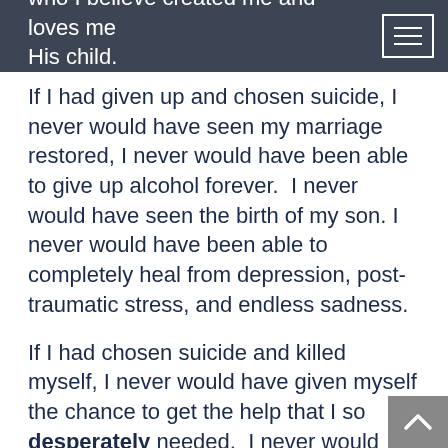who I believe created me and loves me as His child.
If I had given up and chosen suicide, I never would have seen my marriage restored, I never would have been able to give up alcohol forever.  I never would have seen the birth of my son. I never would have been able to completely heal from depression, post-traumatic stress, and endless sadness.
If I had chosen suicide and killed myself, I never would have given myself the chance to get the help that I so desperately needed.  I never would have